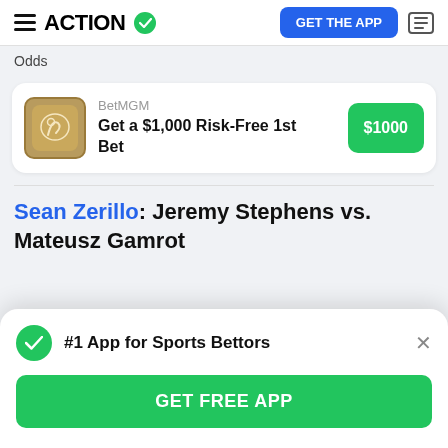ACTION  GET THE APP
Odds
BetMGM
Get a $1,000 Risk-Free 1st Bet
$1000
Sean Zerillo: Jeremy Stephens vs. Mateusz Gamrot
#1 App for Sports Bettors
GET FREE APP